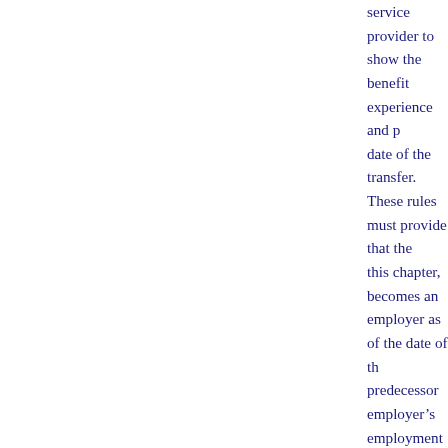service provider to show the benefit experience and p... date of the transfer. These rules must provide that the... this chapter, becomes an employer as of the date of th... predecessor employer's employment record is remov... employer. For each calendar year after the date of the... collection service provider, the service provider shall... employer or employing unit based on his or her empl... the predecessor employer's employment record. Thes... payable by the predecessor and successor employers... transferred portion of the predecessor employer's em... provider and the first day of the next calendar year.
4.    This paragraph does not apply to an employee... defined in s. 443.036, except as provided in s. 443.1... the contractual agreement is terminated or the emplo... contributions as required by the service provider, trea... employment record unless the client is otherwise elig...
(h)   Transfer of unemployment experience upon tr... other provision of law, upon transfer or acquisition of... assignment of rates and to transfers of unemployment...
1.a.   If an employer transfers its trade or business... of the transfer, there is any common ownership, mana... unemployment experience attributable to the transfer... whom the business is so transferred. The rates of bo...